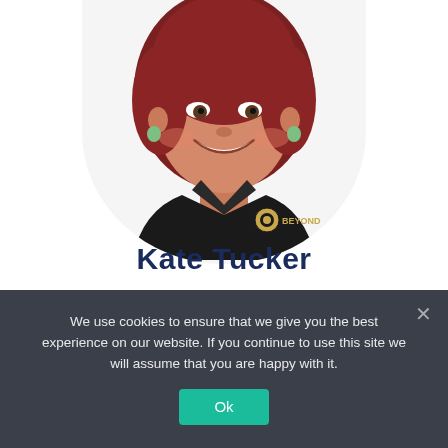[Figure (photo): Portrait photo of Kate Tucker, a woman with red hair wearing a black polo shirt with a 'Beyond' logo, shown from shoulders up in a circular/rounded bottom crop, smiling, on white background]
Kate Tucker
We use cookies to ensure that we give you the best experience on our website. If you continue to use this site we will assume that you are happy with it.